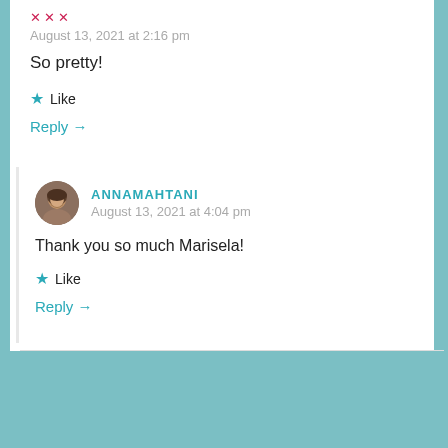[Figure (other): Small decorative icon with pink/red dots]
August 13, 2021 at 2:16 pm
So pretty!
★ Like
Reply →
[Figure (photo): Circular avatar photo of ANNAMAHTANI, a person with dark hair]
ANNAMAHTANI
August 13, 2021 at 4:04 pm
Thank you so much Marisela!
★ Like
Reply →